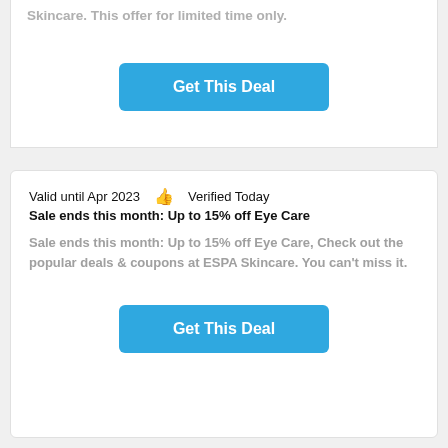Skincare. This offer for limited time only.
Get This Deal
Valid until Apr 2023   👍  Verified Today
Sale ends this month: Up to 15% off Eye Care
Sale ends this month: Up to 15% off Eye Care, Check out the popular deals & coupons at ESPA Skincare. You can't miss it.
Get This Deal